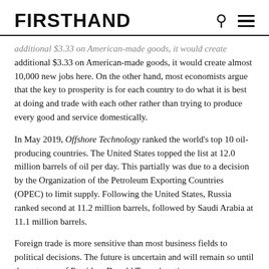FIRSTHAND
additional $3.33 on American-made goods, it would create almost 10,000 new jobs here. On the other hand, most economists argue that the key to prosperity is for each country to do what it is best at doing and trade with each other rather than trying to produce every good and service domestically.
In May 2019, Offshore Technology ranked the world's top 10 oil-producing countries. The United States topped the list at 12.0 million barrels of oil per day. This partially was due to a decision by the Organization of the Petroleum Exporting Countries (OPEC) to limit supply. Following the United States, Russia ranked second at 11.2 million barrels, followed by Saudi Arabia at 11.1 million barrels.
Foreign trade is more sensitive than most business fields to political decisions. The future is uncertain and will remain so until the outcome of President Donald Trump's actions on